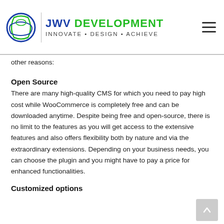JWV DEVELOPMENT INNOVATE • DESIGN • ACHIEVE
other reasons:
Open Source
There are many high-quality CMS for which you need to pay high cost while WooCommerce is completely free and can be downloaded anytime. Despite being free and open-source, there is no limit to the features as you will get access to the extensive features and also offers flexibility both by nature and via the extraordinary extensions. Depending on your business needs, you can choose the plugin and you might have to pay a price for enhanced functionalities.
Customized options